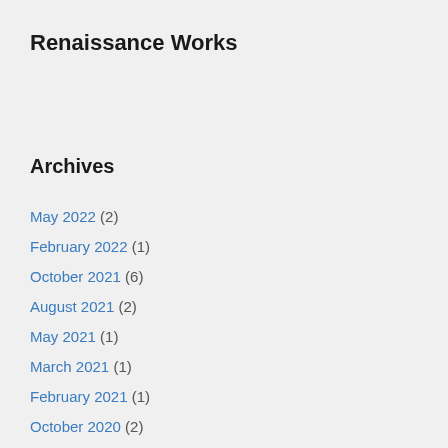Renaissance Works
Archives
May 2022 (2)
February 2022 (1)
October 2021 (6)
August 2021 (2)
May 2021 (1)
March 2021 (1)
February 2021 (1)
October 2020 (2)
September 2020 (1)